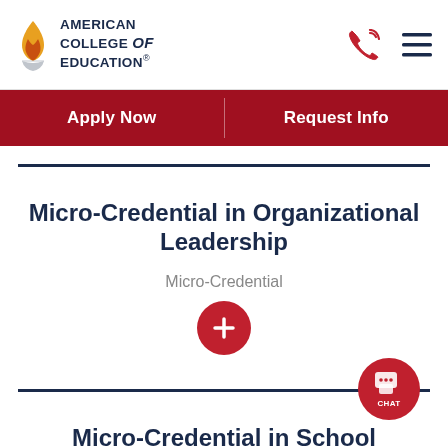[Figure (logo): American College of Education logo with flame icon and text]
Apply Now | Request Info
Micro-Credential in Organizational Leadership
Micro-Credential
[Figure (other): Red circle with white plus sign (expand/accordion toggle)]
Micro-Credential in School Business Official